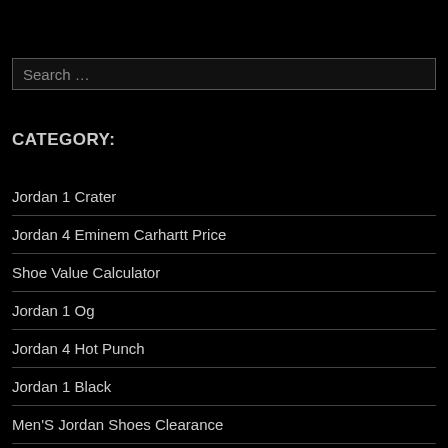Search …
CATEGORY:
Jordan 1 Crater
Jordan 4 Eminem Carhartt Price
Shoe Value Calculator
Jordan 1 Og
Jordan 4 Hot Punch
Jordan 1 Black
Men'S Jordan Shoes Clearance
Jordan 4 Jack Daniels